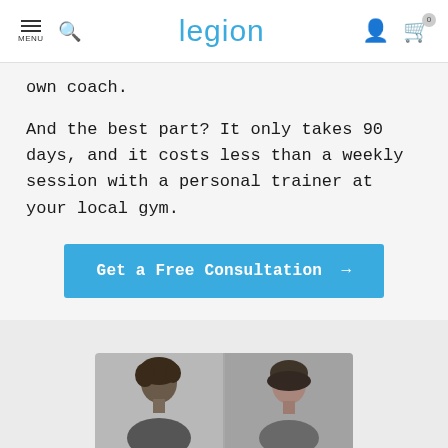MENU | Search | legion | User | Cart (0)
own coach.
And the best part? It only takes 90 days, and it costs less than a weekly session with a personal trainer at your local gym.
Get a Free Consultation →
[Figure (photo): Two people shown from shoulders up, cropped preview at bottom of page]